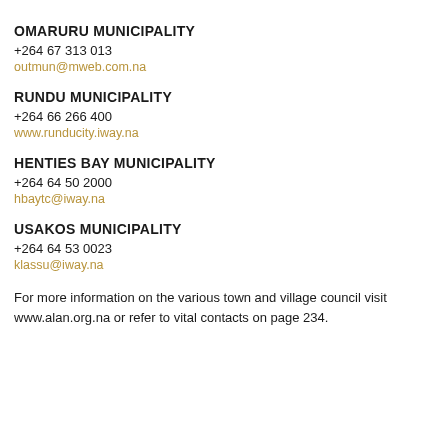OMARURU MUNICIPALITY
+264 67 313 013
outmun@mweb.com.na
RUNDU MUNICIPALITY
+264 66 266 400
www.runducity.iway.na
HENTIES BAY MUNICIPALITY
+264 64 50 2000
hbaytc@iway.na
USAKOS MUNICIPALITY
+264 64 53 0023
klassu@iway.na
For more information on the various town and village council visit www.alan.org.na or refer to vital contacts on page 234.